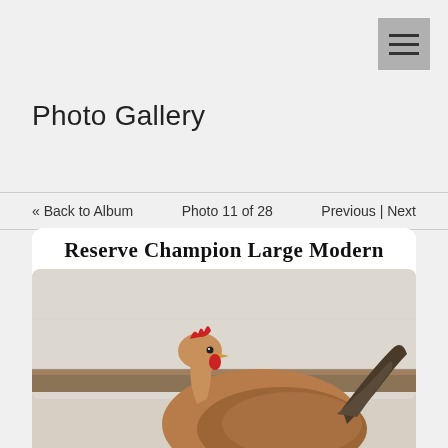[Figure (other): Hamburger/menu icon button in top-right corner, grey background with three horizontal lines]
Photo Gallery
« Back to Album    Photo 11 of 28    Previous | Next
[Figure (photo): Photo of a chicken (hen) titled 'Reserve Champion Large Modern'. The bird is shown from the side against a white wooden background. It has a red comb, brownish-tan plumage, and a dark tail. The image has rounded corners.]